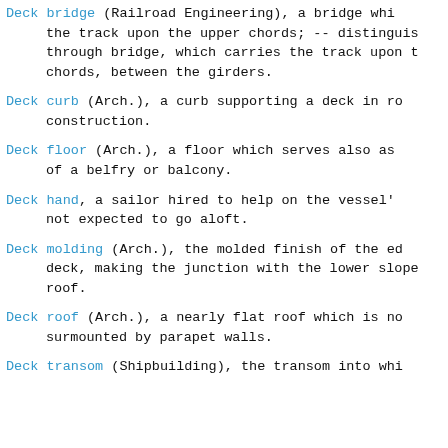Deck bridge (Railroad Engineering), a bridge which carries the track upon the upper chords; -- distinguished from a through bridge, which carries the track upon the lower chords, between the girders.
Deck curb (Arch.), a curb supporting a deck in roof construction.
Deck floor (Arch.), a floor which serves also as a deck of a belfry or balcony.
Deck hand, a sailor hired to help on the vessel's deck not expected to go aloft.
Deck molding (Arch.), the molded finish of the edge of a deck, making the junction with the lower slope of a roof.
Deck roof (Arch.), a nearly flat roof which is not surmounted by parapet walls.
Deck transom (Shipbuilding), the transom into which...